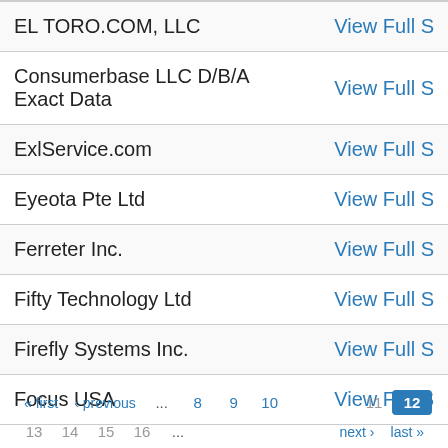| Company | Action |
| --- | --- |
| EL TORO.COM, LLC | View Full S |
| Consumerbase LLC D/B/A Exact Data | View Full S |
| ExlService.com | View Full S |
| Eyeota Pte Ltd | View Full S |
| Ferreter Inc. | View Full S |
| Fifty Technology Ltd | View Full S |
| Firefly Systems Inc. | View Full S |
| Focus USA | View Full S |
« first  ‹ previous  ...  8  9  10  11  12  13  14  15  16  ...  next ›  last »